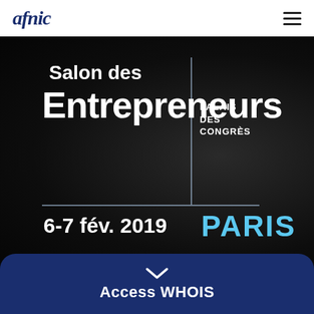afnic
[Figure (illustration): Salon des Entrepreneurs event banner — dark background with large white bold text reading 'Salon des Entrepreneurs', a vertical and horizontal light blue dividing lines, 'PALAIS DES CONGRÈS' in white uppercase on the right side, '6-7 fév. 2019' in white bold on the bottom left, and 'PARIS' in light blue bold on the bottom right.]
Access WHOIS